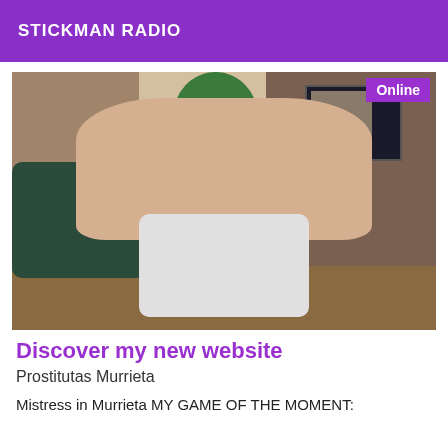STICKMAN RADIO
[Figure (photo): Photo showing two people in a room, with a plant and TV visible in the background. An 'Online' badge appears in the top-right corner of the image.]
Discover my new website
Prostitutas Murrieta
Mistress in Murrieta MY GAME OF THE MOMENT: